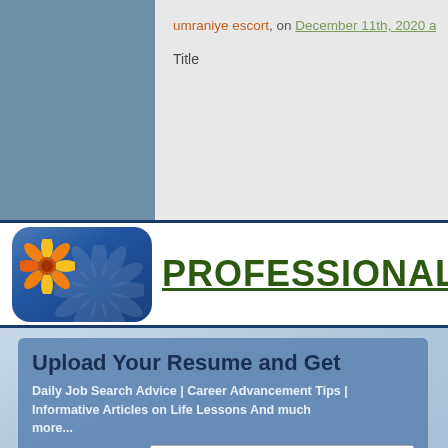umraniye escort, on December 11th, 2020 at 3:17 pm
Title
PROFESSIONAL ADVI
Upload Your Resume and Get
Daily Job Search Advice | Career Advancement Tips | Informative Articles on Life Lessons And much more...
Email Address
Upload Resume   Choose File   No file chosen